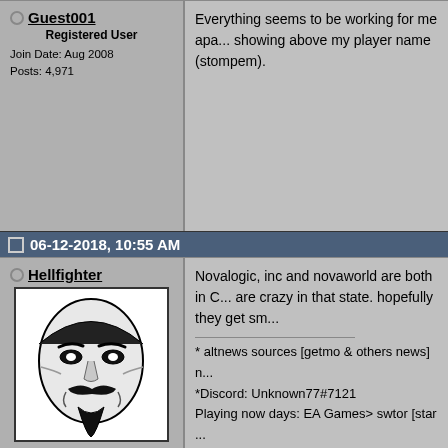Guest001 | Registered User | Join Date: Aug 2008 | Posts: 4,971 | Everything seems to be working for me apa... showing above my player name (stompem).
06-12-2018, 10:55 AM
Hellfighter | Chief ADFP | Join Date: Jun 2002 | Location: San Jose Calif 95111 | Posts: 21,134
Novalogic, inc and novaworld are both in C... are crazy in that state. hopefully they get sm...
* altnews sources [getmo & others news] n...
*Discord: Unknown77#7121
Playing now days: EA Games> swtor [star ...
06-12-2018, 12:56 PM
j7wild | Registered User | Join Date: Jun 2018
I got done with work and family stuff early... relax by playing some DFX online and nope...
It's up right now but I can't play right n...